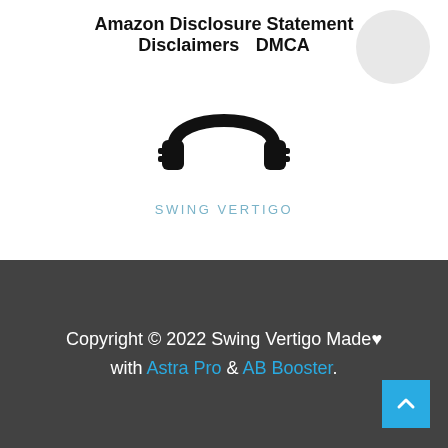Amazon Disclosure Statement   Disclaimers   DMCA
[Figure (logo): Headphones icon logo with text SWING VERTIGO below]
Copyright © 2022 Swing Vertigo Made♥ with Astra Pro & AB Booster.